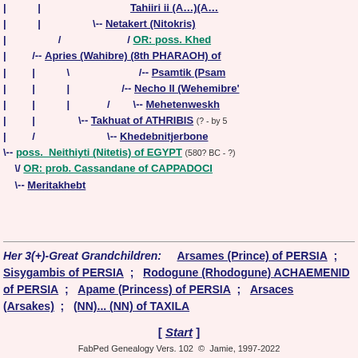[Figure (other): Genealogy tree showing ancestry lines for Neithiyti (Nitetis) of Egypt including Netakert (Nitokris), Apries (Wahibre), Psamtik, Necho II, Mehetenweskh, Takhuat of Athribis, Khedebnitjerbone, and OR alternatives]
Her 3(+)-Great Grandchildren: Arsames (Prince) of PERSIA ; Sisygambis of PERSIA ; Rodogune (Rhodogune) ACHAEMENID of PERSIA ; Apame (Princess) of PERSIA ; Arsaces (Arsakes) ; (NN)... (NN) of TAXILA
[ Start ]
FabPed Genealogy Vers. 102  ©  Jamie, 1997-2022